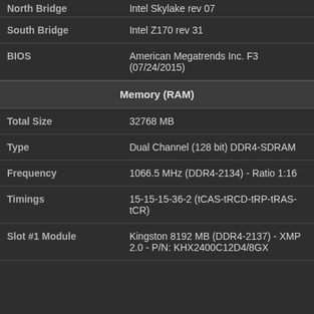| North Bridge | Intel Skylake rev 07 |
| South Bridge | Intel Z170 rev 31 |
| BIOS | American Megatrends Inc. F3 (07/24/2015) |
Memory (RAM)
| Total Size | 32768 MB |
| Type | Dual Channel (128 bit) DDR4-SDRAM |
| Frequency | 1066.5 MHz (DDR4-2134) - Ratio 1:16 |
| Timings | 15-15-15-36-2 (tCAS-tRCD-tRP-tRAS-tCR) |
| Slot #1 Module | Kingston 8192 MB (DDR4-2137) - XMP 2.0 - P/N: KHX2400C12D4/8GX |